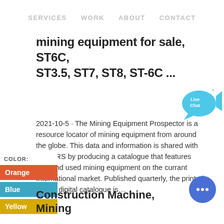SERVICES  WORK     ABOUT  CONTACT
mining equipment for sale, ST6C, ST3.5, ST7, ST8, ST-6C ...
[Figure (illustration): Live Chat button with fish/bubble shape in blue]
2021-10-5 · The Mining Equipment Prospector is a resource locator of mining equipment from around the globe. This data and information is shared with BUYERS by producing a catalogue that features new and used mining equipment on the currant International market. Published quarterly, the printed and or digital catalogue is...
COLOR:
Orange
Blue
Yellow
[Figure (illustration): Blue circular chat bubble button with three dots]
Construction Machine, Mining